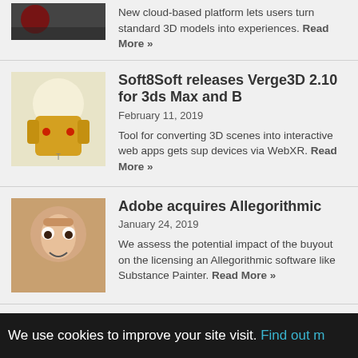[Figure (photo): Partial thumbnail of a 3D model scene, top of page]
New cloud-based platform lets users turn standard 3D models into experiences. Read More »
[Figure (photo): Robot character thumbnail for Soft8Soft Verge3D article]
Soft8Soft releases Verge3D 2.10 for 3ds Max and B
February 11, 2019
Tool for converting 3D scenes into interactive web apps gets support for devices via WebXR. Read More »
[Figure (photo): 3D rendered child face for Adobe Allegorithmic article]
Adobe acquires Allegorithmic
January 24, 2019
We assess the potential impact of the buyout on the licensing and Allegorithmic software like Substance Painter. Read More »
[Figure (photo): Stormtrooper image for Valkyrie Engine article]
Valkyrie Engine lets artists create AR apps without
November 19, 2018
New game engine lets users create iOS augmented reality apps with workflow. Read More »
We use cookies to improve your site visit. Find out m